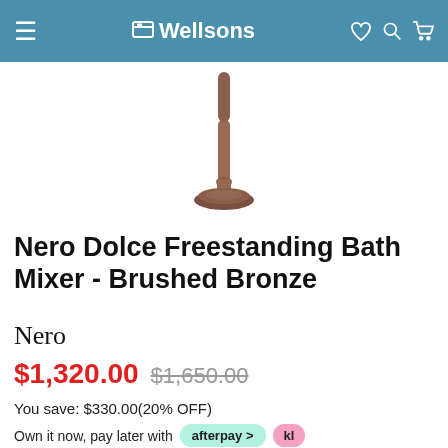Wellsons
[Figure (photo): Nero Dolce Freestanding Bath Mixer in Brushed Bronze finish — a tall cylindrical tap on a round base, shown from the bottom portion of the product]
Nero Dolce Freestanding Bath Mixer - Brushed Bronze
Nero
$1,320.00  $1,650.00
You save: $330.00(20% OFF)
Own it now, pay later with afterpay >  kl...